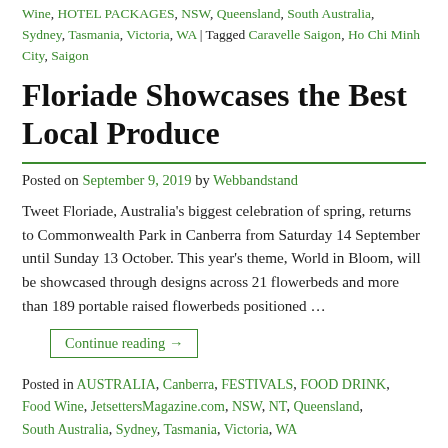Wine, HOTEL PACKAGES, NSW, Queensland, South Australia, Sydney, Tasmania, Victoria, WA | Tagged Caravelle Saigon, Ho Chi Minh City, Saigon
Floriade Showcases the Best Local Produce
Posted on September 9, 2019 by Webbandstand
Tweet Floriade, Australia's biggest celebration of spring, returns to Commonwealth Park in Canberra from Saturday 14 September until Sunday 13 October. This year's theme, World in Bloom, will be showcased through designs across 21 flowerbeds and more than 189 portable raised flowerbeds positioned …
Continue reading →
Posted in AUSTRALIA, Canberra, FESTIVALS, FOOD DRINK, Food Wine, JetsettersMagazine.com, NSW, NT, Queensland, South Australia, Sydney, Tasmania, Victoria, WA